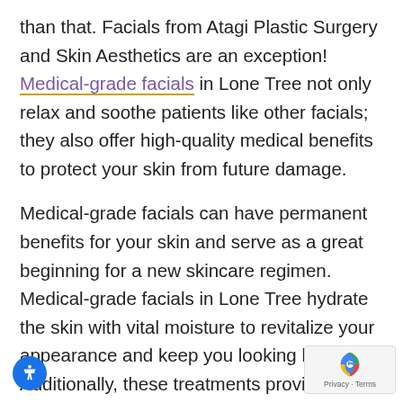than that. Facials from Atagi Plastic Surgery and Skin Aesthetics are an exception! Medical-grade facials in Lone Tree not only relax and soothe patients like other facials; they also offer high-quality medical benefits to protect your skin from future damage.
Medical-grade facials can have permanent benefits for your skin and serve as a great beginning for a new skincare regimen. Medical-grade facials in Lone Tree hydrate the skin with vital moisture to revitalize your appearance and keep you looking bright. Additionally, these treatments provide deep exfoliation to clear out the bacteria that causes blemishes and acne to appear. After a medical facial from Atagi Plastic Surgery and Skin Aesthetics, your skin will have a fresh new